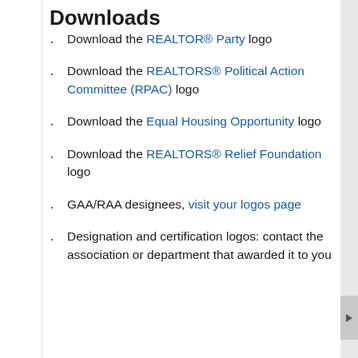Downloads
Download the REALTOR® Party logo
Download the REALTORS® Political Action Committee (RPAC) logo
Download the Equal Housing Opportunity logo
Download the REALTORS® Relief Foundation logo
GAA/RAA designees, visit your logos page
Designation and certification logos: contact the association or department that awarded it to you